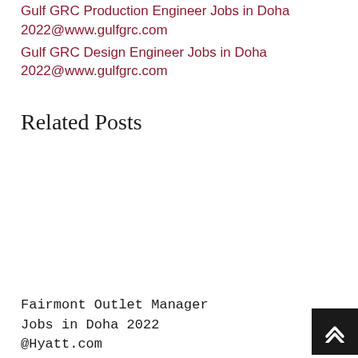Gulf GRC Production Engineer Jobs in Doha 2022@www.gulfgrc.com
Gulf GRC Design Engineer Jobs in Doha 2022@www.gulfgrc.com
Related Posts
Fairmont Outlet Manager Jobs in Doha 2022 @Hyatt.com